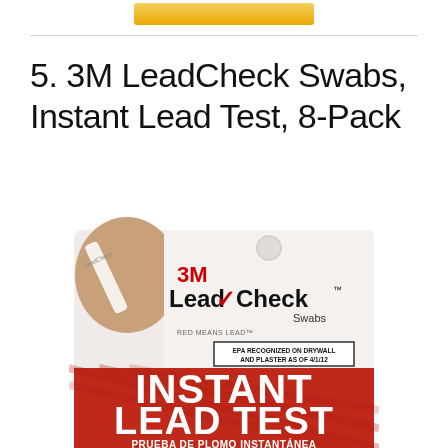[Figure (other): Gold/yellow button at top of page, partially visible]
5. 3M LeadCheck Swabs, Instant Lead Test, 8-Pack
[Figure (photo): Product photo of 3M LeadCheck Swabs Instant Lead Test 8-Pack package. The package has a white top section showing the 3M LeadCheck Swabs brand logo with a red checkmark, text 'RED MEANS LEAD', an EPA recognition notice for drywall and plaster as of 4/1/12, and a red lower section with the text 'INSTANT LEAD TEST' in large white letters and 'PRUEBA DE PLOMO INSTANTANEA' below it. A hand holding a swab is visible on the left side of the package.]